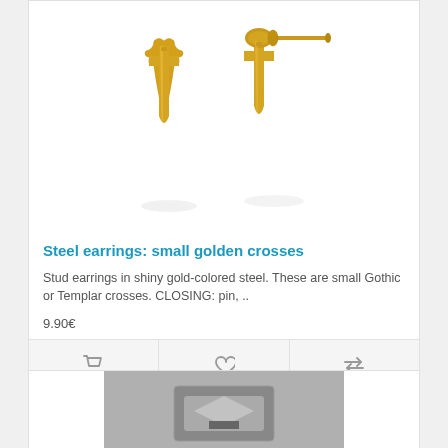[Figure (photo): Two gold-colored stainless steel Gothic/Templar cross stud earrings shown from front and side/back angles on white background]
Steel earrings: small golden crosses
Stud earrings in shiny gold-colored steel. These are small Gothic or Templar crosses. CLOSING: pin, ..
9.90€
[Figure (photo): Partial view of a second product card showing a silver/grey toned jewelry item on grey background]